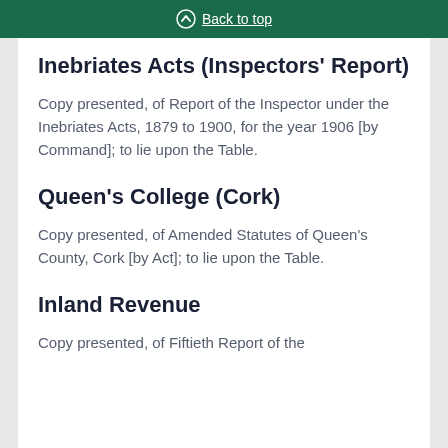Back to top
Inebriates Acts (Inspectors' Report)
Copy presented, of Report of the Inspector under the Inebriates Acts, 1879 to 1900, for the year 1906 [by Command]; to lie upon the Table.
Queen's College (Cork)
Copy presented, of Amended Statutes of Queen's County, Cork [by Act]; to lie upon the Table.
Inland Revenue
Copy presented, of Fiftieth Report of the